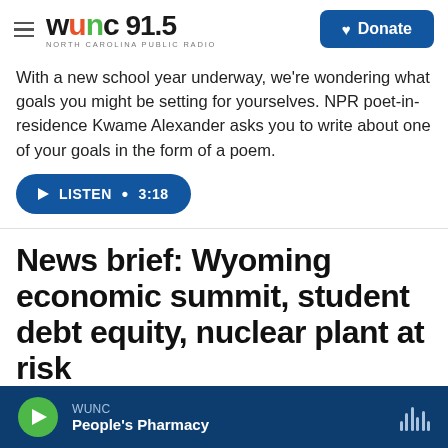WUNC 91.5 NORTH CAROLINA PUBLIC RADIO
With a new school year underway, we're wondering what goals you might be setting for yourselves. NPR poet-in-residence Kwame Alexander asks you to write about one of your goals in the form of a poem.
LISTEN • 3:18
News brief: Wyoming economic summit, student debt equity, nuclear plant at risk
Rachel Martin,  August 26, 2022
WUNC People's Pharmacy